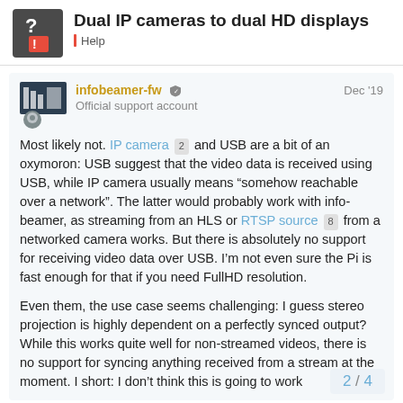Dual IP cameras to dual HD displays
Help
infobeamer-fw  Official support account  Dec '19
Most likely not. IP camera 2 and USB are a bit of an oxymoron: USB suggest that the video data is received using USB, while IP camera usually means “somehow reachable over a network”. The latter would probably work with info-beamer, as streaming from an HLS or RTSP source 8 from a networked camera works. But there is absolutely no support for receiving video data over USB. I’m not even sure the Pi is fast enough for that if you need FullHD resolution.
Even them, the use case seems challenging: I guess stereo projection is highly dependent on a perfectly synced output? While this works quite well for non-streamed videos, there is no support for syncing anything received from a stream at the moment. I short: I don’t think this is going to work
2 / 4